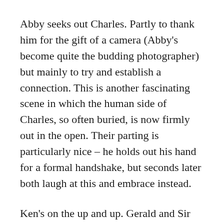Abby seeks out Charles.  Partly to thank him for the gift of a camera (Abby's become quite the budding photographer) but mainly to try and establish a connection.  This is another fascinating scene in which the human side of Charles, so often buried, is now firmly out in the open.  Their parting is particularly nice – he holds out his hand for a formal handshake, but seconds later both laugh at this and embrace instead.
Ken's on the up and up.  Gerald and Sir Edward are considering going into partnership with him, and if they do then all three will be hoping to strike black gold on the coast.  This is bad news for Sarah, who – having rejected a